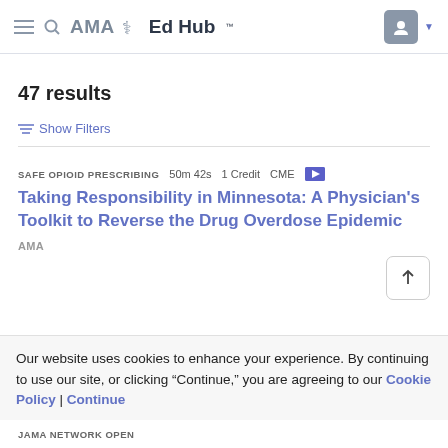AMA Ed Hub
47 results
Show Filters
SAFE OPIOID PRESCRIBING   50m 42s   1 Credit   CME
Taking Responsibility in Minnesota: A Physician's Toolkit to Reverse the Drug Overdose Epidemic
AMA
Our website uses cookies to enhance your experience. By continuing to use our site, or clicking "Continue," you are agreeing to our Cookie Policy | Continue
JAMA Network Open